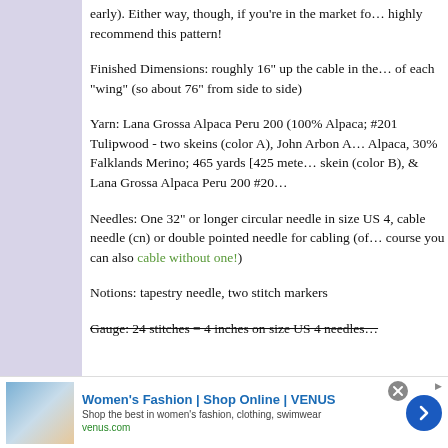early). Either way, though, if you're in the market for… highly recommend this pattern!
Finished Dimensions: roughly 16" up the cable in the… of each "wing" (so about 76" from side to side)
Yarn: Lana Grossa Alpaca Peru 200 (100% Alpaca; … #201 Tulipwood - two skeins (color A), John Arbon A… Alpaca, 30% Falklands Merino; 465 yards [425 mete… skein (color B), & Lana Grossa Alpaca Peru 200 #20…
Needles: One 32" or longer circular needle in size US 4,… cable needle (cn) or double pointed needle for cabling (of… course you can also cable without one!)
Notions: tapestry needle, two stitch markers
Gauge: 24 stitches = 4 inches on size US 4 needles…
[Figure (screenshot): Women's Fashion | Shop Online | VENUS advertisement banner. Shows a Summer Sale promotional image on the left, ad headline 'Women's Fashion | Shop Online | VENUS' in blue bold text, subtext 'Shop the best in women's fashion, clothing, swimwear', URL 'venus.com' in green, and a blue circular arrow button on the right.]